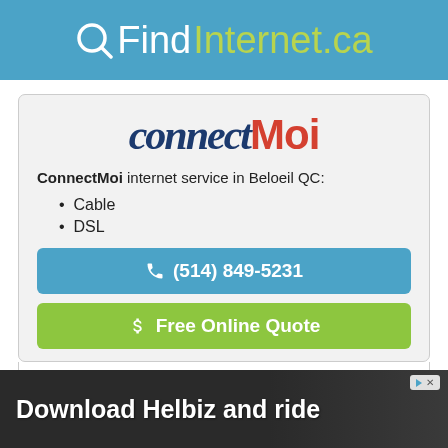QFindInternet.ca
[Figure (logo): ConnectMoi company logo with italic blue 'connect' and red 'Moi' text]
ConnectMoi internet service in Beloeil QC:
Cable
DSL
(514) 849-5231
$ Free Online Quote
Starting at $36.99 per month for internet service.
[Figure (photo): Advertisement banner showing a person riding a scooter with text 'Download Helbiz and ride']